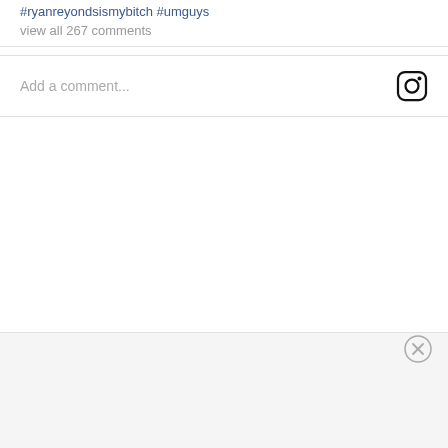#ryanreyondsismybitch #umguys
view all 267 comments
Add a comment...
[Figure (logo): Instagram camera logo icon, square with rounded corners, black outline]
[Figure (other): Close/dismiss button (circle with X) in bottom right of a gray banner bar]